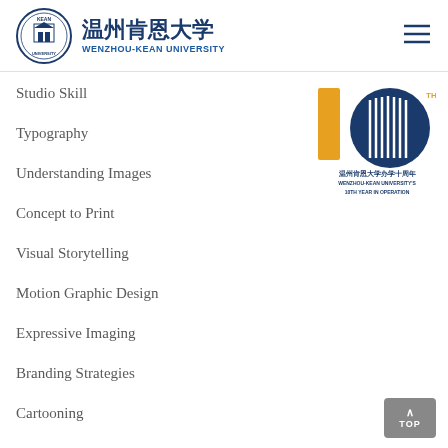温州肯恩大学 WENZHOU-KEAN UNIVERSITY
Studio Skill
Typography
[Figure (logo): Wenzhou-Kean University 10th year anniversary logo with gold '10' numerals and blue circle with building facade, text reads 温州肯恩大学办学十周年 WENZHOU-KEAN UNIVERSITY'S 10TH YEAR IN OPERATION]
Understanding Images
Concept to Print
Visual Storytelling
Motion Graphic Design
Expressive Imaging
Branding Strategies
Cartooning